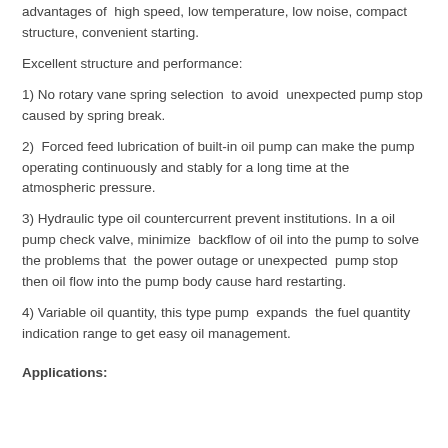advantages of  high speed, low temperature, low noise, compact structure, convenient starting.
Excellent structure and performance:
1) No rotary vane spring selection  to avoid  unexpected pump stop caused by spring break.
2)  Forced feed lubrication of built-in oil pump can make the pump operating continuously and stably for a long time at the atmospheric pressure.
3) Hydraulic type oil countercurrent prevent institutions. In a oil pump check valve, minimize  backflow of oil into the pump to solve the problems that  the power outage or unexpected  pump stop then oil flow into the pump body cause hard restarting.
4) Variable oil quantity, this type pump  expands  the fuel quantity indication range to get easy oil management.
Applications: